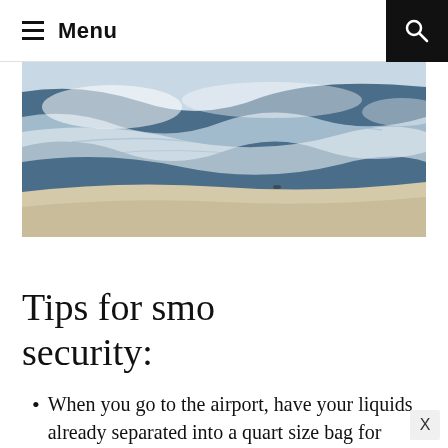≡ Menu
[Figure (photo): Aerial view of a beach shoreline with blue ocean water, white waves, and sandy shore.]
Tips for smo security:
When you go to the airport, have your liquids already separated into a quart size bag for